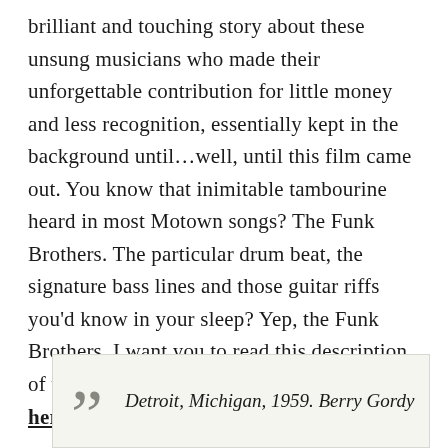brilliant and touching story about these unsung musicians who made their unforgettable contribution for little money and less recognition, essentially kept in the background until…well, until this film came out. You know that inimitable tambourine heard in most Motown songs? The Funk Brothers. The particular drum beat, the signature bass lines and those guitar riffs you'd know in your sleep? Yep, the Funk Brothers. I want you to read this description of the film on Amazon.com (which I've linked here for your convenient ordering!):
Detroit, Michigan, 1959. Berry Gordy